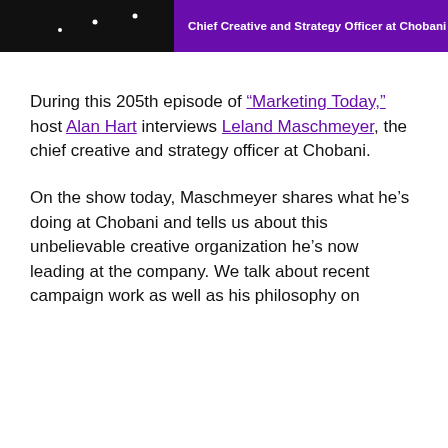[Figure (screenshot): Banner image with black left section containing small white dots and a purple right section with white bold text reading 'Chief Creative and Strategy Officer at Chobani']
During this 205th episode of “Marketing Today,” host Alan Hart interviews Leland Maschmeyer, the chief creative and strategy officer at Chobani.
On the show today, Maschmeyer shares what he’s doing at Chobani and tells us about this unbelievable creative organization he’s now leading at the company. We talk about recent campaign work as well as his philosophy on